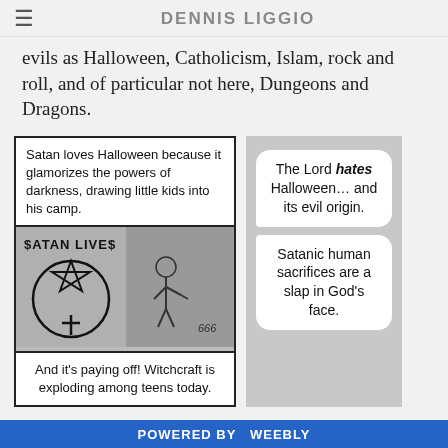DENNIS LIGGIO
evils as Halloween, Catholicism, Islam, rock and roll, and of particular not here, Dungeons and Dragons.
[Figure (illustration): Comic panel (left): Top text reads 'Satan loves Halloween because it glamorizes the powers of darkness, drawing little kids into his camp.' Middle: black-and-white illustration of graffiti showing 'SATAN LIVES' with inverted pentagram and a figure spraying graffiti on a wall, with '666' visible. Bottom text: 'And it's paying off! Witchcraft is exploding among teens today.']
[Figure (illustration): Comic panel (right, partially cut off): Two speech bubbles. First: 'The Lord hates Halloween... and its evil origin.' Second: 'Satanic human sacrifices are a slap in God's face.']
POWERED BY Weebly